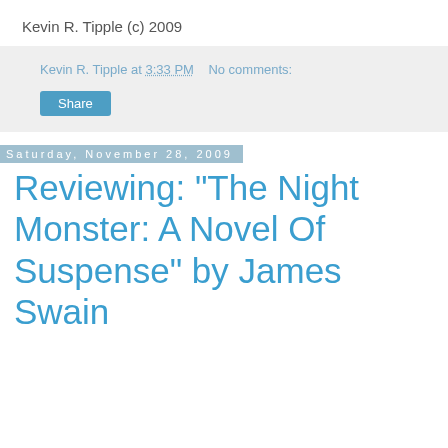Kevin R. Tipple (c) 2009
Kevin R. Tipple at 3:33 PM   No comments:
Share
Saturday, November 28, 2009
Reviewing: "The Night Monster: A Novel Of Suspense" by James Swain